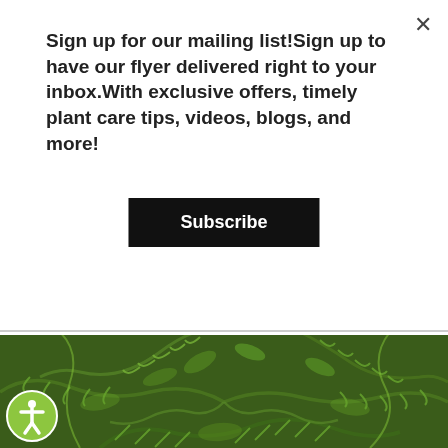Sign up for our mailing list!Sign up to have our flyer delivered right to your inbox.With exclusive offers, timely plant care tips, videos, blogs, and more!
Subscribe
[Figure (photo): Close-up photograph of dense green fern fronds with intricate leaf patterns filling the frame]
[Figure (logo): Accessibility icon — circular yellow/green badge with a person symbol in the center]